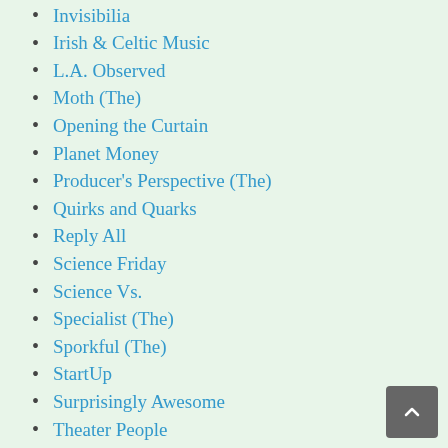Invisibilia
Irish & Celtic Music
L.A. Observed
Moth (The)
Opening the Curtain
Planet Money
Producer's Perspective (The)
Quirks and Quarks
Reply All
Science Friday
Science Vs.
Specialist (The)
Sporkful (The)
StartUp
Surprisingly Awesome
Theater People
This American Life
Twenty Thousand Hertz
Wait Wait Don't Tell Me
Woodsongs Radio Hour
Work in Progress